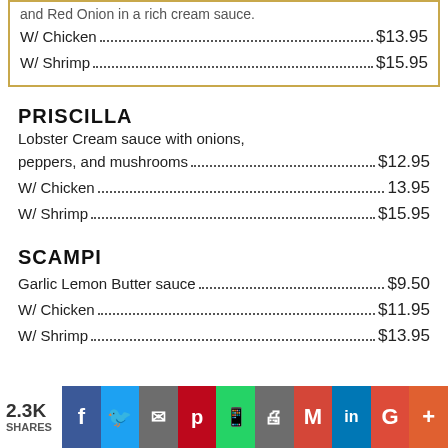and Red Onion in a rich cream sauce...$12.95
W/ Chicken...$13.95
W/ Shrimp...$15.95
PRISCILLA
Lobster Cream sauce with onions, peppers, and mushrooms
peppers, and mushrooms...$12.95
W/ Chicken...13.95
W/ Shrimp...$15.95
SCAMPI
Garlic Lemon Butter sauce...$9.50
W/ Chicken...$11.95
W/ Shrimp...$13.95